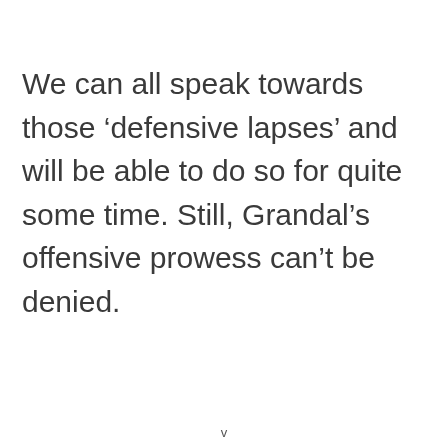We can all speak towards those ‘defensive lapses’ and will be able to do so for quite some time. Still, Grandal’s offensive prowess can’t be denied.
v